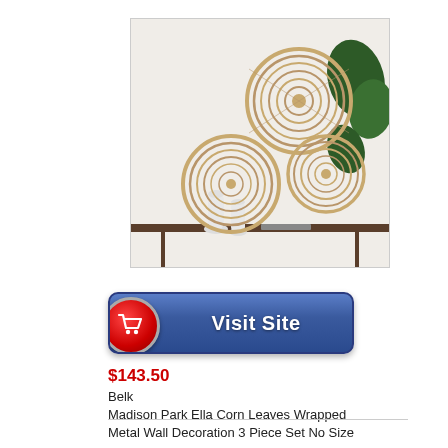[Figure (photo): Three woven corn leaves wrapped metal wall decorations in circular shapes mounted on a white wall above a console table with white ceramic vases and green tropical plants]
[Figure (other): Visit Site button with red shopping cart circle icon on the left and dark blue rounded rectangle button with white bold text 'Visit Site']
$143.50
Belk
Madison Park Ella Corn Leaves Wrapped Metal Wall Decoration 3 Piece Set No Size